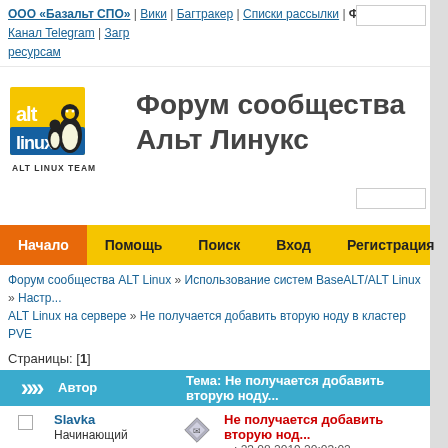ООО «Базальт СПО» | Вики | Багтракер | Списки рассылки | Форум | Канал Telegram | Загр... ресурсам
[Figure (logo): ALT Linux Team penguin logo with yellow and blue square, text ALT LINUX TEAM below]
Форум сообщества Альт Линукс
Начало  Помощь  Поиск  Вход  Регистрация
Форум сообщества ALT Linux » Использование систем BaseALT/ALT Linux » Настр... ALT Linux на сервере » Не получается добавить вторую ноду в кластер PVE
Страницы: [1]
|  | Автор | Тема: Не получается добавить вторую ноду... |
| --- | --- | --- |
|  | Slavka
Начинающий | Не получается добавить вторую нод...
« : 23.08.2019 20:03:02 » |
Slavka
Начинающий